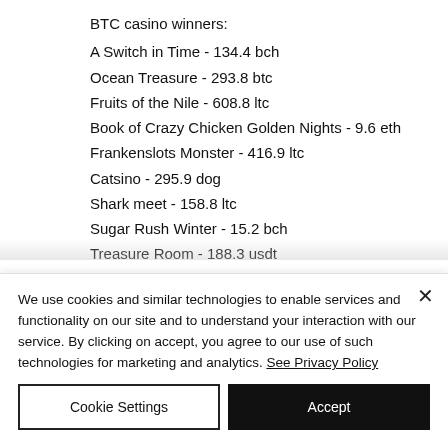BTC casino winners:
A Switch in Time - 134.4 bch
Ocean Treasure - 293.8 btc
Fruits of the Nile - 608.8 ltc
Book of Crazy Chicken Golden Nights - 9.6 eth
Frankenslots Monster - 416.9 ltc
Catsino - 295.9 dog
Shark meet - 158.8 ltc
Sugar Rush Winter - 15.2 bch
Treasure Room - 188.3 usdt
Robbie Jones - 321.5 ltc
A Switch in Time - (partially visible)
We use cookies and similar technologies to enable services and functionality on our site and to understand your interaction with our service. By clicking on accept, you agree to our use of such technologies for marketing and analytics. See Privacy Policy
Cookie Settings | Accept